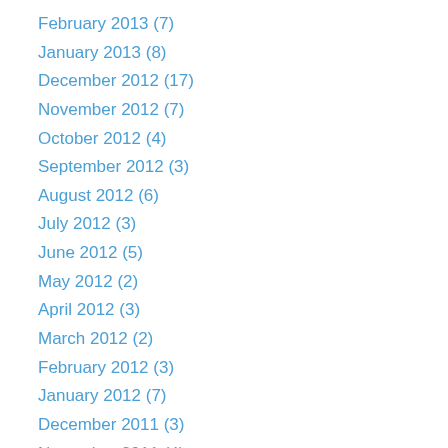February 2013 (7)
January 2013 (8)
December 2012 (17)
November 2012 (7)
October 2012 (4)
September 2012 (3)
August 2012 (6)
July 2012 (3)
June 2012 (5)
May 2012 (2)
April 2012 (3)
March 2012 (2)
February 2012 (3)
January 2012 (7)
December 2011 (3)
November 2011 (4)
October 2011 (7)
September 2011 (5)
August 2011 (4)
July 2011 (10)